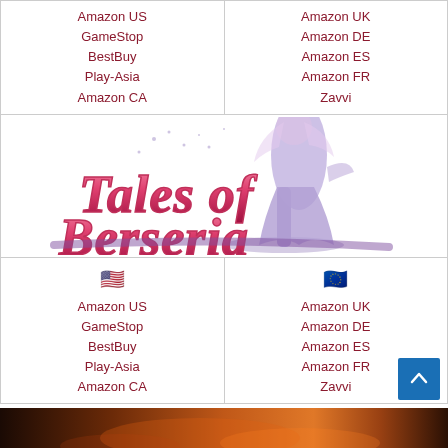| US/NA | EU |
| --- | --- |
| Amazon US | Amazon UK |
| GameStop | Amazon DE |
| BestBuy | Amazon ES |
| Play-Asia | Amazon FR |
| Amazon CA | Zavvi |
[Figure (logo): Tales of Berseria game logo with pink fantasy script lettering and a purple silhouette of a female character]
| 🇺🇸 US/NA | 🇪🇺 EU |
| --- | --- |
| Amazon US | Amazon UK |
| GameStop | Amazon DE |
| BestBuy | Amazon ES |
| Play-Asia | Amazon FR |
| Amazon CA | Zavvi |
[Figure (photo): Dark fantasy game scene with fire and dramatic lighting at the bottom strip]